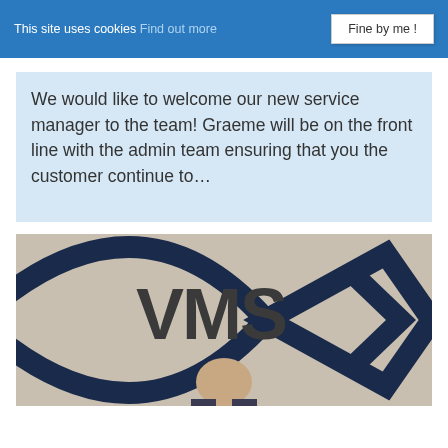This site uses cookies Find out more  Fine by me!
We would like to welcome our new service manager to the team! Graeme will be on the front line with the admin team ensuring that you the customer continue to…
[Figure (photo): A man standing in front of a large VMS logo sign on a wall. The logo is a dark navy blue eye/chevron shape with 'VMS' text in large letters.]